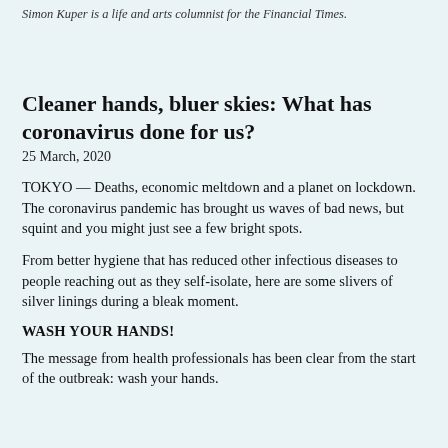Simon Kuper is a life and arts columnist for the Financial Times.
Cleaner hands, bluer skies: What has coronavirus done for us?
25 March, 2020
TOKYO — Deaths, economic meltdown and a planet on lockdown. The coronavirus pandemic has brought us waves of bad news, but squint and you might just see a few bright spots.
From better hygiene that has reduced other infectious diseases to people reaching out as they self-isolate, here are some slivers of silver linings during a bleak moment.
WASH YOUR HANDS!
The message from health professionals has been clear from the start of the outbreak: wash your hands.